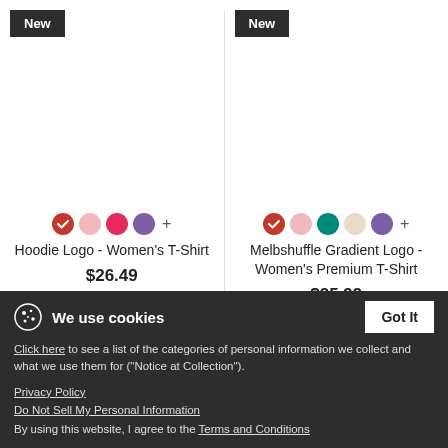[Figure (infographic): Two product cards side by side. Left: 'New' badge, product image area (white), color swatches (red selected, pink, hot pink, purple, plus), product name 'Hoodie Logo - Women's T-Shirt', price '$26.49'. Right: 'New' badge, product image area (white), color swatches (red selected, pink, teal, beige, purple, plus), product name 'Melbshuffle Gradient Logo - Women's Premium T-Shirt', price '$25.99'.]
We use cookies
Click here to see a list of the categories of personal information we collect and what we use them for ("Notice at Collection").
Privacy Policy
Do Not Sell My Personal Information
By using this website, I agree to the Terms and Conditions